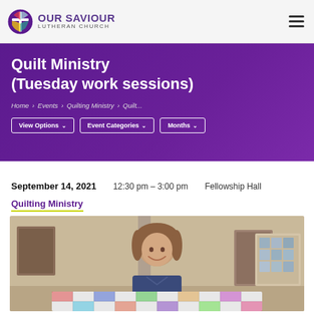Our Saviour Lutheran Church
Quilt Ministry (Tuesday work sessions)
Home > Events > Quilting Ministry > Quilt...
View Options | Event Categories | Months
September 14, 2021   12:30 pm – 3:00 pm   Fellowship Hall
Quilting Ministry
[Figure (photo): Woman smiling and holding a quilt in a fellowship hall]